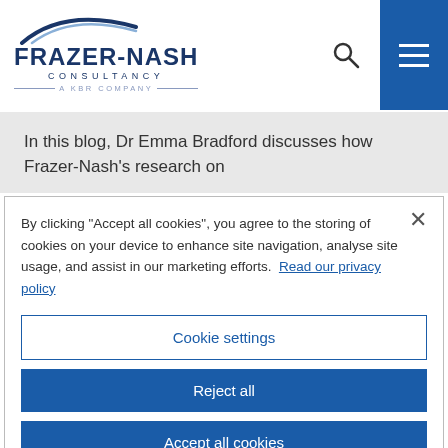[Figure (logo): Frazer-Nash Consultancy — A KBR Company logo with arc graphic above the company name]
In this blog, Dr Emma Bradford discusses how Frazer-Nash's research on
By clicking "Accept all cookies", you agree to the storing of cookies on your device to enhance site navigation, analyse site usage, and assist in our marketing efforts. Read our privacy policy
Cookie settings
Reject all
Accept all cookies